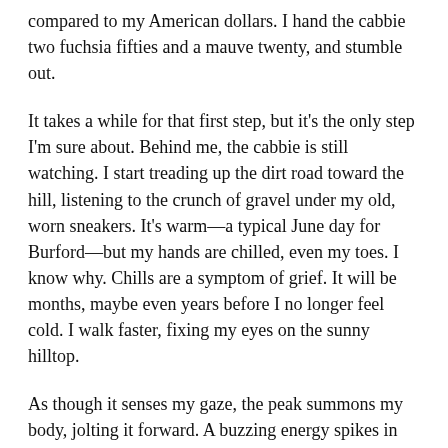compared to my American dollars. I hand the cabbie two fuchsia fifties and a mauve twenty, and stumble out.
It takes a while for that first step, but it's the only step I'm sure about. Behind me, the cabbie is still watching. I start treading up the dirt road toward the hill, listening to the crunch of gravel under my old, worn sneakers. It's warm—a typical June day for Burford—but my hands are chilled, even my toes. I know why. Chills are a symptom of grief. It will be months, maybe even years before I no longer feel cold. I walk faster, fixing my eyes on the sunny hilltop.
As though it senses my gaze, the peak summons my body, jolting it forward. A buzzing energy spikes in my muscles. Abruptly, I start running. Clouds of dust burst around my feet as I sprint down the road. The gravel is ending now, turning to grass, and I charge up the windy trail. The crest is straight above, beckoning me upward. My thighs burn, my breath comes in loud, sharp huffs, but I keep running. The rucksack